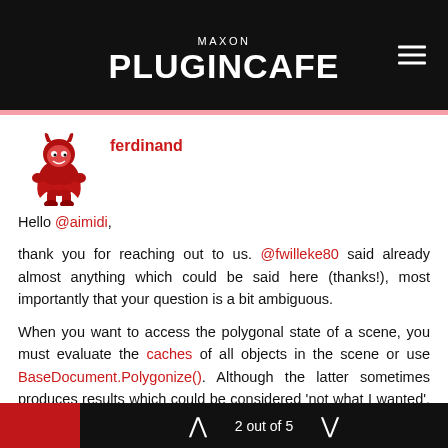MAXON PLUGINCAFE
[Figure (logo): Mascot avatar: red cartoon devil character running, used as user avatar for 'ferdinand']
ferdinand
Hello @aimidi,

thank you for reaching out to us. @fwilleke80 said already almost anything which could be said here (thanks!), most importantly that your question is a bit ambiguous.

When you want to access the polygonal state of a scene, you must evaluate the caches of all objects in the scene or use BaseDocument.Polygonize(). Although the latter sometimes produces results which could be considered 'not what I wanted', and one must then evaluate the caches of all objects manually. When you implement something inside a render loop, e.g., shaders or a renderer
2 out of 5